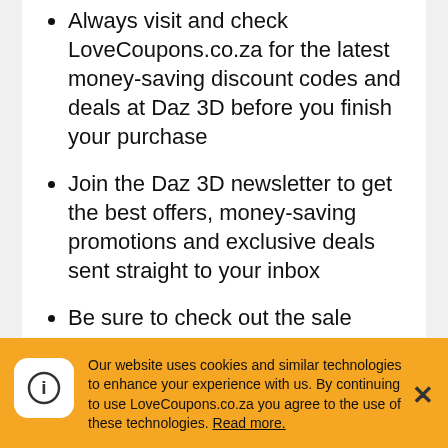Always visit and check LoveCoupons.co.za for the latest money-saving discount codes and deals at Daz 3D before you finish your purchase
Join the Daz 3D newsletter to get the best offers, money-saving promotions and exclusive deals sent straight to your inbox
Be sure to check out the sale offers and discount section on the Daz 3D website for the latest promotions and discount offers
Follow Daz 3D on social media to stay updated with their new arrivals and offers.
Sign up to LoveCoupons.co.za newsletter for
Our website uses cookies and similar technologies to enhance your experience with us. By continuing to use LoveCoupons.co.za you agree to the use of these technologies. Read more.